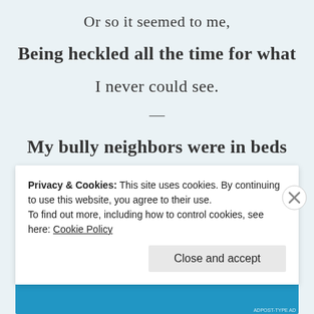Or so it seemed to me,
Being heckled all the time for what
I never could see.
—
My bully neighbors were in beds
Privacy & Cookies: This site uses cookies. By continuing to use this website, you agree to their use.
To find out more, including how to control cookies, see here: Cookie Policy
Close and accept